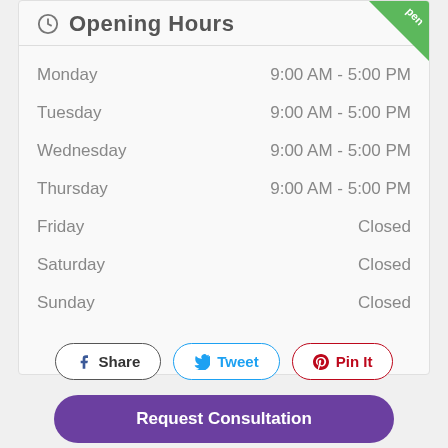Opening Hours
| Day | Hours |
| --- | --- |
| Monday | 9:00 AM - 5:00 PM |
| Tuesday | 9:00 AM - 5:00 PM |
| Wednesday | 9:00 AM - 5:00 PM |
| Thursday | 9:00 AM - 5:00 PM |
| Friday | Closed |
| Saturday | Closed |
| Sunday | Closed |
Share  Tweet  Pin It
Request Consultation